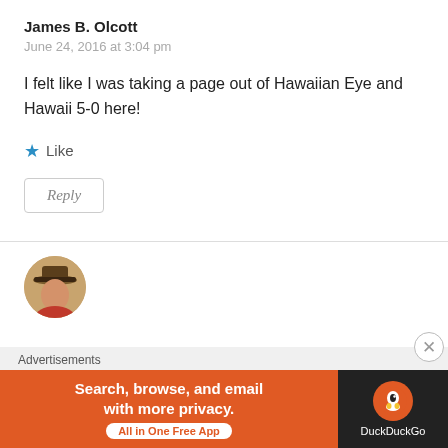James B. Olcott
June 24, 2016 at 3:04 pm
I felt like I was taking a page out of Hawaiian Eye and Hawaii 5-0 here!
★ Like
Reply
[Figure (photo): Circular avatar photo of a person wearing a hat]
Advertisements
[Figure (screenshot): DuckDuckGo advertisement banner: 'Search, browse, and email with more privacy. All in One Free App' with DuckDuckGo logo on dark background]